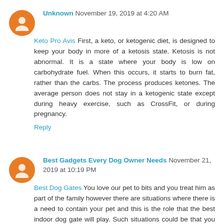Unknown November 19, 2019 at 4:20 AM
Keto Pro Avis First, a keto, or ketogenic diet, is designed to keep your body in more of a ketosis state. Ketosis is not abnormal. It is a state where your body is low on carbohydrate fuel. When this occurs, it starts to burn fat, rather than the carbs. The process produces ketones. The average person does not stay in a ketogenic state except during heavy exercise, such as CrossFit, or during pregnancy.
Reply
Best Gadgets Every Dog Owner Needs November 21, 2019 at 10:19 PM
Best Dog Gates You love our pet to bits and you treat him as part of the family however there are situations where there is a need to contain your pet and this is the role that the best indoor dog gate will play. Such situations could be that you are stepping out of the house to do some shopping